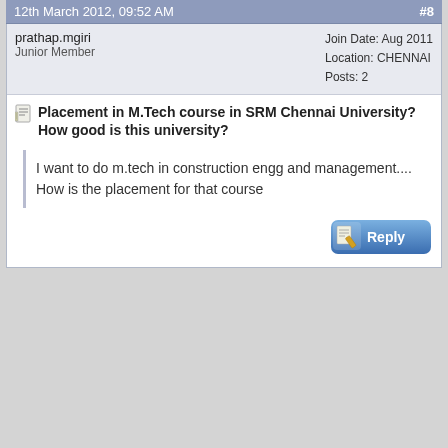12th March 2012, 09:52 AM   #8
prathap.mgiri
Junior Member
Join Date: Aug 2011
Location: CHENNAI
Posts: 2
Placement in M.Tech course in SRM Chennai University? How good is this university?
I want to do m.tech in construction engg and management.... How is the placement for that course
21st March 2012, 11:56 AM   #9